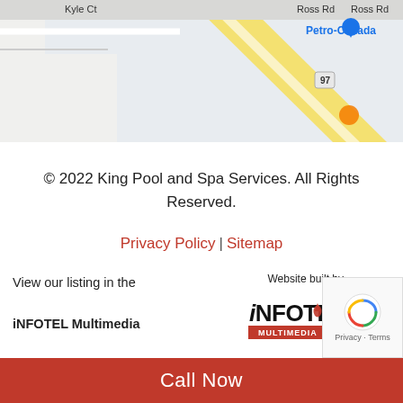[Figure (map): Google Maps partial view showing road map with Kyle Ct, Petro-Canada, highway 97, Bartley Rd, Ross Rd labels and map pin markers]
© 2022 King Pool and Spa Services. All Rights Reserved.
Privacy Policy | Sitemap
View our listing in the
iNFOTEL Multimedia
[Figure (logo): iNFOTEL Multimedia logo with red flame/maple leaf and black text]
Website built by
Call Now